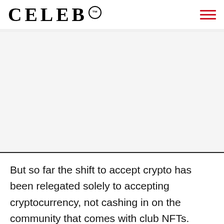CELEB™
[Figure (photo): Large image area placeholder, light gray background]
But so far the shift to accept crypto has been relegated solely to accepting cryptocurrency, not cashing in on the community that comes with club NFTs.